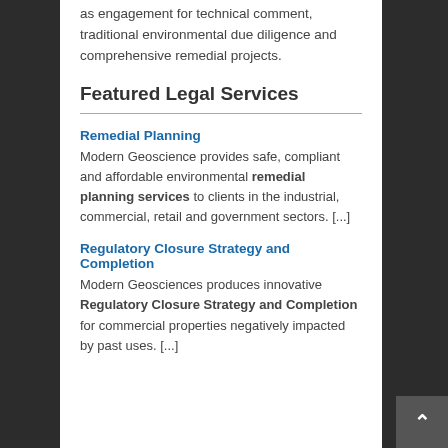as engagement for technical comment, traditional environmental due diligence and comprehensive remedial projects.
Featured Legal Services
Remedial Planning
Modern Geoscience provides safe, compliant and affordable environmental remedial planning services to clients in the industrial, commercial, retail and government sectors. [...]
Regulatory Closure Strategy and Completion
Modern Geosciences produces innovative Regulatory Closure Strategy and Completion for commercial properties negatively impacted by past uses. [...]